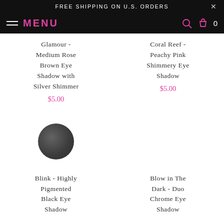FREE SHIPPING ON U.S. ORDERS
MENU
Glamour - Medium Rose Brown Eye Shadow with Silver Shimmer
$5.00
Coral Reef - Peachy Pink Shimmery Eye Shadow
$5.00
[Figure (photo): Dark grey/black circular eye shadow pan]
Blink - Highly Pigmented Black Eye Shadow
Blow in The Dark - Duo Chrome Eye Shadow